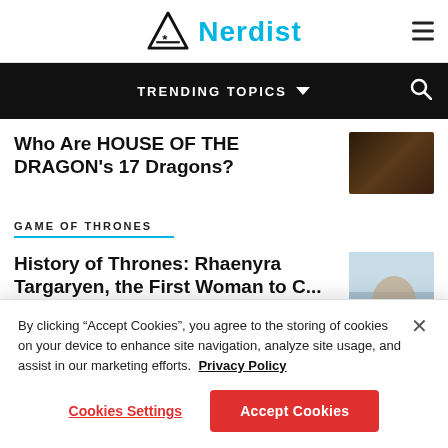Nerdist
TRENDING TOPICS
Who Are HOUSE OF THE DRAGON’s 17 Dragons?
GAME OF THRONES
History of Thrones: Rhaenyra Targaryen, the First Woman to C...
By clicking “Accept Cookies”, you agree to the storing of cookies on your device to enhance site navigation, analyze site usage, and assist in our marketing efforts. Privacy Policy
Cookies Settings
Accept Cookies